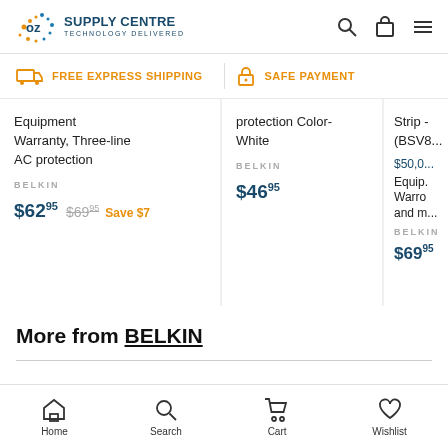OZ SUPPLY CENTRE - TECHNOLOGY DELIVERED
FREE EXPRESS SHIPPING  SAFE PAYMENT
Equipment Warranty, Three-line AC protection
BELKIN
$62.95  $69.95  Save $7
protection Color-White
BELKIN
$46.95
Strip - (BSV8...
$50,0...
Equip. Warro and m...
BELKIN
$69.95
More from BELKIN
Home  Search  Cart  Wishlist